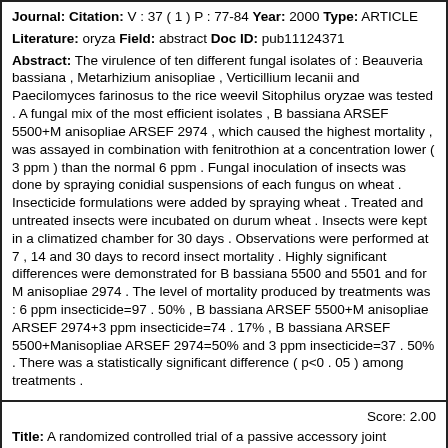Journal: Citation: V : 37 ( 1 ) P : 77-84 Year: 2000 Type: ARTICLE
Literature: oryza Field: abstract Doc ID: pub11124371
Abstract: The virulence of ten different fungal isolates of : Beauveria bassiana , Metarhizium anisopliae , Verticillium lecanii and Paecilomyces farinosus to the rice weevil Sitophilus oryzae was tested . A fungal mix of the most efficient isolates , B bassiana ARSEF 5500+M anisopliae ARSEF 2974 , which caused the highest mortality , was assayed in combination with fenitrothion at a concentration lower ( 3 ppm ) than the normal 6 ppm . Fungal inoculation of insects was done by spraying conidial suspensions of each fungus on wheat . Insecticide formulations were added by spraying wheat . Treated and untreated insects were incubated on durum wheat . Insects were kept in a climatized chamber for 30 days . Observations were performed at 7 , 14 and 30 days to record insect mortality . Highly significant differences were demonstrated for B bassiana 5500 and 5501 and for M anisopliae 2974 . The level of mortality produced by treatments was : 6 ppm insecticide=97 . 50% , B bassiana ARSEF 5500+M anisopliae ARSEF 2974+3 ppm insecticide=74 . 17% , B bassiana ARSEF 5500+Manisopliae ARSEF 2974=50% and 3 ppm insecticide=37 . 50% . There was a statistically significant difference ( p<0 . 05 ) among treatments .
Score: 2.00
Title: A randomized controlled trial of a passive accessory joint mobilization on acute ankle inversion sprains .
Journal: Citation: V : 81 ( 4 ) P : 984-94 Year: 2001 Type: ARTICLE
Literature: oryza Field: abstract Doc ID: pub11276181
Abstract: BACKGROUND AND PURPOSE : Passive joint mobilization is commonly used by physical therapists as an intervention for acute ankle inversion sprains .